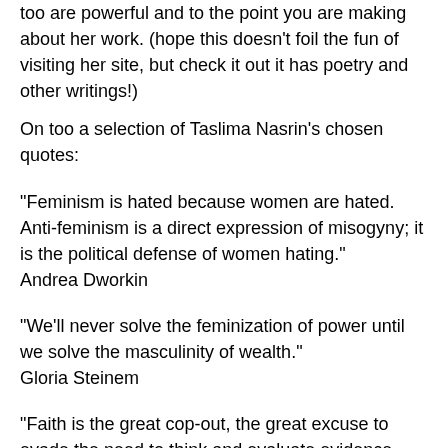too are powerful and to the point you are making about her work. (hope this doesn't foil the fun of visiting her site, but check it out it has poetry and other writings!)
On too a selection of Taslima Nasrin's chosen quotes:
"Feminism is hated because women are hated. Anti-feminism is a direct expression of misogyny; it is the political defense of women hating." Andrea Dworkin
"We'll never solve the feminization of power until we solve the masculinity of wealth." Gloria Steinem
"Faith is the great cop-out, the great excuse to evade the need to think and evaluate evidence